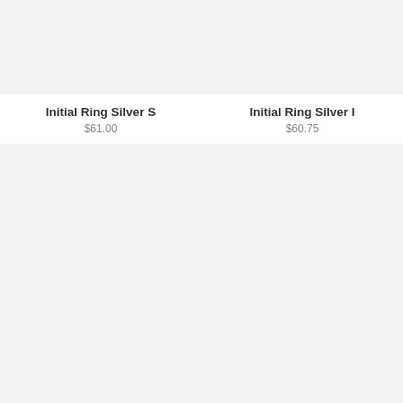[Figure (photo): Product image placeholder for Initial Ring Silver S - light gray background]
Initial Ring Silver S
$61.00
[Figure (photo): Product image placeholder for Initial Ring Silver I - light gray background]
Initial Ring Silver I
$60.75
[Figure (photo): Product image placeholder - bottom left - light gray background]
[Figure (photo): Product image placeholder - bottom right - light gray background]